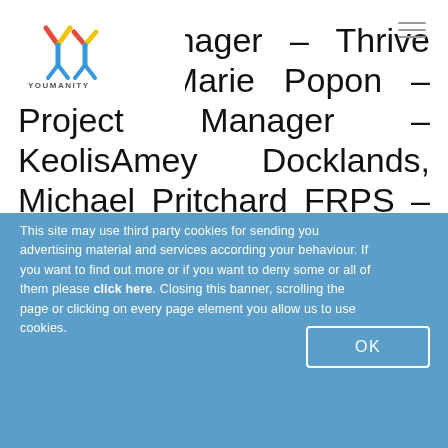[Figure (logo): YY Youmanity logo with colourful figure icon and text YOUMANITY below]
roject Manager - Thrive London, Marie Popon - Project Manager - KeolisAmey Docklands, Michael Pritchard FRPS - Director, Education and Public Affairs, The Royal Photographic Society; Driv…
This site may use third party cookies for sending you advertising material and services according your behaviour. If you want to find out more or if you want to deny some or all of them please click here. Closing this banner, scrolling the page or clicking on every page element you allow us to use cookies.
OK